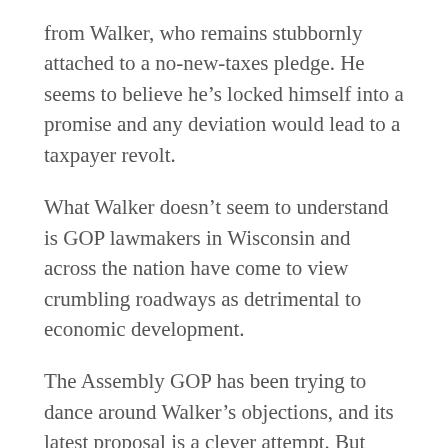from Walker, who remains stubbornly attached to a no-new-taxes pledge. He seems to believe he's locked himself into a promise and any deviation would lead to a taxpayer revolt.
What Walker doesn't seem to understand is GOP lawmakers in Wisconsin and across the nation have come to view crumbling roadways as detrimental to economic development.
The Assembly GOP has been trying to dance around Walker's objections, and its latest proposal is a clever attempt. But there seems to be no satisfying Walker, who told the Milwaukee Journal Sentinel the plan amounted to a tax increase of more than $400 million over two years.